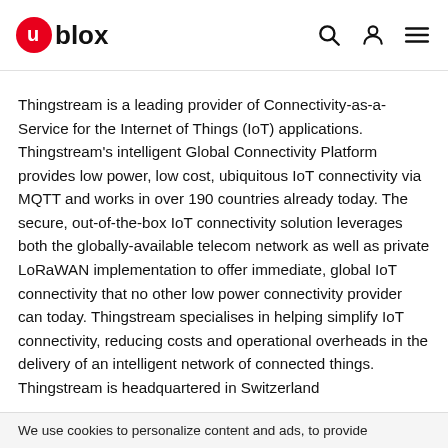u-blox logo with navigation icons (search, account, menu)
Thingstream is a leading provider of Connectivity-as-a-Service for the Internet of Things (IoT) applications. Thingstream's intelligent Global Connectivity Platform provides low power, low cost, ubiquitous IoT connectivity via MQTT and works in over 190 countries already today. The secure, out-of-the-box IoT connectivity solution leverages both the globally-available telecom network as well as private LoRaWAN implementation to offer immediate, global IoT connectivity that no other low power connectivity provider can today. Thingstream specialises in helping simplify IoT connectivity, reducing costs and operational overheads in the delivery of an intelligent network of connected things. Thingstream is headquartered in Switzerland
We use cookies to personalize content and ads, to provide